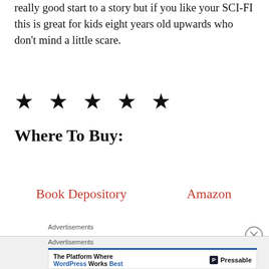really good start to a story but if you like your SCI-FI this is great for kids eight years old upwards who don't mind a little scare.
★ ★ ★ ★ ★
Where To Buy:
Book Depository   Amazon
Advertisements
Advertisements
The Platform Where WordPress Works Best   Pressable